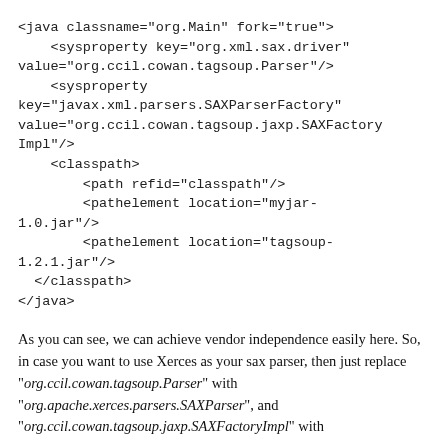<java classname="org.Main" fork="true">
    <sysproperty key="org.xml.sax.driver" value="org.ccil.cowan.tagsoup.Parser"/>
    <sysproperty
key="javax.xml.parsers.SAXParserFactory"
value="org.ccil.cowan.tagsoup.jaxp.SAXFactoryImpl"/>
    <classpath>
        <path refid="classpath"/>
        <pathelement location="myjar-1.0.jar"/>
        <pathelement location="tagsoup-1.2.1.jar"/>
    </classpath>
</java>
As you can see, we can achieve vendor independence easily here. So, in case you want to use Xerces as your sax parser, then just replace "org.ccil.cowan.tagsoup.Parser" with "org.apache.xerces.parsers.SAXParser", and "org.ccil.cowan.tagsoup.jaxp.SAXFactoryImpl" with